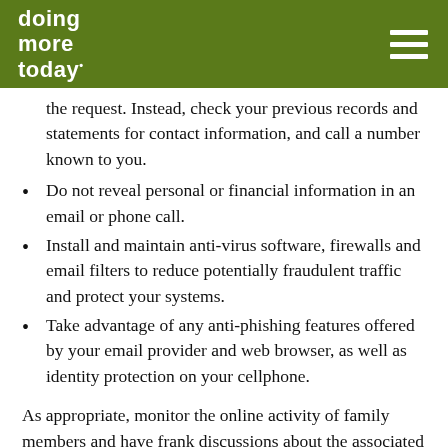doing more today
the request. Instead, check your previous records and statements for contact information, and call a number known to you.
Do not reveal personal or financial information in an email or phone call.
Install and maintain anti-virus software, firewalls and email filters to reduce potentially fraudulent traffic and protect your systems.
Take advantage of any anti-phishing features offered by your email provider and web browser, as well as identity protection on your cellphone.
As appropriate, monitor the online activity of family members and have frank discussions about the associated risks.